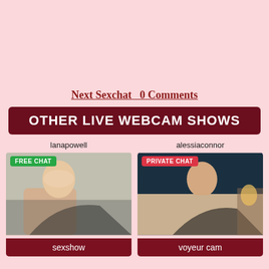Next Sexchat  0 Comments
OTHER LIVE WEBCAM SHOWS
lanapowell
[Figure (photo): Photo of lanapowell with FREE CHAT badge]
alessiaconnor
[Figure (photo): Photo of alessiaconnor with PRIVATE CHAT badge]
sexshow
voyeur cam